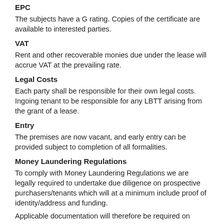EPC
The subjects have a G rating.  Copies of the certificate are available to interested parties.
VAT
Rent and other recoverable monies due under the lease will accrue VAT at the prevailing rate.
Legal Costs
Each party shall be responsible for their own legal costs.  Ingoing tenant to be responsible for any LBTT arising from the grant of a lease.
Entry
The premises are now vacant, and early entry can be provided subject to completion of all formalities.
Money Laundering Regulations
To comply with Money Laundering Regulations we are legally required to undertake due diligence on prospective purchasers/tenants which will at a minimum include proof of identity/address and funding.
Applicable documentation will therefore be required on